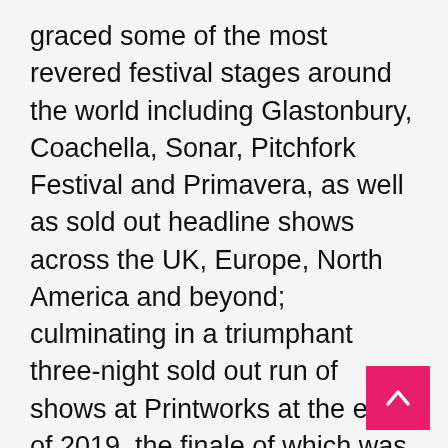graced some of the most revered festival stages around the world including Glastonbury, Coachella, Sonar, Pitchfork Festival and Primavera, as well as sold out headline shows across the UK, Europe, North America and beyond; culminating in a triumphant three-night sold out run of shows at Printworks at the end of 2019, the finale of which was recorded by Resident Advisor for their 'RA Live' series. Following the announcement of their first live performances in over a year at London's O2 Academy Brixton on 27th and 28th March—both of which sold out in a matter of minutes—and ahead of their first headline UK festival appearance at Field Day in July, Bicep will head out across the UK and Europe this April to perform their stunning, immersive live show. Bicep are also ambassadors for Youth Music, a charity that works to change the lives of young people through music and music production.